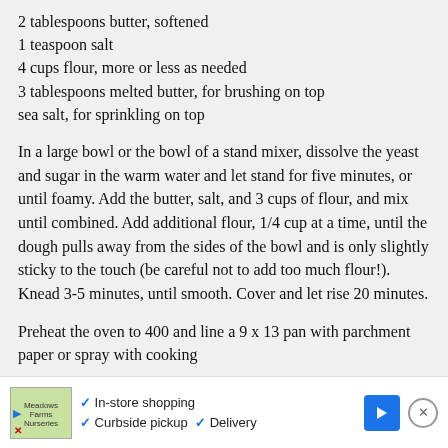2 tablespoons butter, softened
1 teaspoon salt
4 cups flour, more or less as needed
3 tablespoons melted butter, for brushing on top
sea salt, for sprinkling on top
In a large bowl or the bowl of a stand mixer, dissolve the yeast and sugar in the warm water and let stand for five minutes, or until foamy. Add the butter, salt, and 3 cups of flour, and mix until combined. Add additional flour, 1/4 cup at a time, until the dough pulls away from the sides of the bowl and is only slightly sticky to the touch (be careful not to add too much flour!). Knead 3-5 minutes, until smooth. Cover and let rise 20 minutes.
Preheat the oven to 400 and line a 9 x 13 pan with parchment paper or spray with cooking